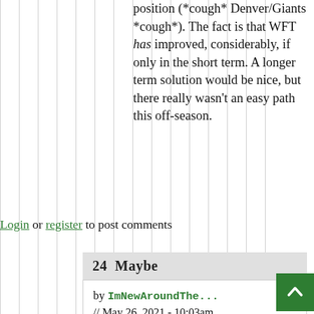position (*cough* Denver/Giants *cough*). The fact is that WFT has improved, considerably, if only in the short term. A longer term solution would be nice, but there really wasn't an easy path this off-season.
Login or register to post comments
24  Maybe
by ImNewAroundThe... // May 26, 2021 - 10:03am
But we surely would've